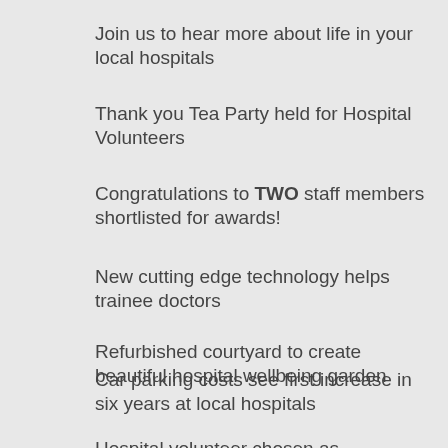Join us to hear more about life in your local hospitals
Thank you Tea Party held for Hospital Volunteers
Congratulations to TWO staff members shortlisted for awards!
New cutting edge technology helps trainee doctors
Refurbished courtyard to create beautiful hospital wellbeing garden
Car parking costs see first increase in six years at local hospitals
Hospital volunteer chosen as